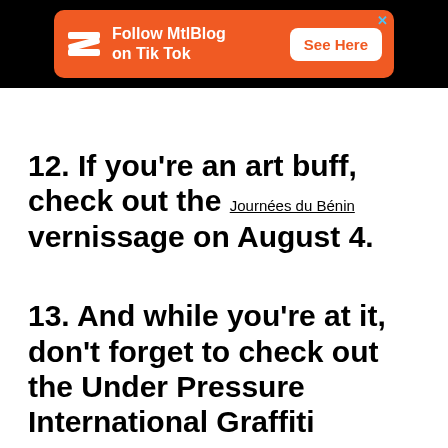[Figure (infographic): Orange advertisement banner for MtlBlog on TikTok with white Z logo on left, text 'Follow MtlBlog on Tik Tok' in center, white 'See Here' button on right, on black background bar]
12. If you're an art buff, check out the Journées du Bénin vernissage on August 4.
13. And while you're at it, don't forget to check out the Under Pressure International Graffiti